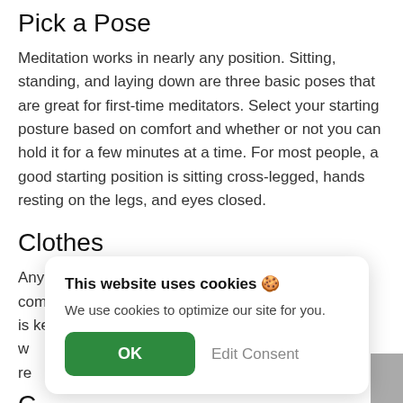Pick a Pose
Meditation works in nearly any position. Sitting, standing, and laying down are three basic poses that are great for first-time meditators. Select your starting posture based on comfort and whether or not you can hold it for a few minutes at a time. For most people, a good starting position is sitting cross-legged, hands resting on the legs, and eyes closed.
Clothes
Any clothing can work for meditation, but again, comfort is key. Many people enjoy light, loose fitting clothes w... re... fa...
C
Meditati...
[Figure (screenshot): Cookie consent modal dialog. Title: 'This website uses cookies 🍪'. Body: 'We use cookies to optimize our site for you.' Two buttons: 'OK' (green) and 'Edit Consent' (gray text).]